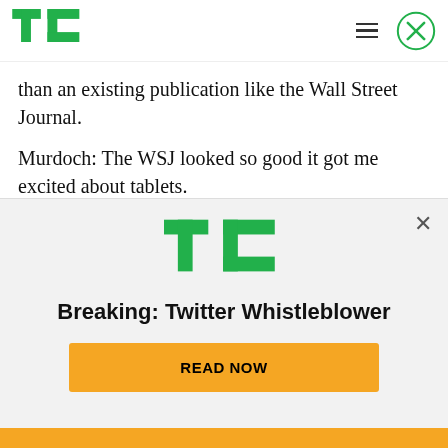TechCrunch logo, hamburger menu, close button
than an existing publication like the Wall Street Journal.
Murdoch: The WSJ looked so good it got me excited about tablets.
What about other tablets?
Murdoch: We've been very upfront with Apple. We expect to be on all major tablets. But this year and next belong to Apple. That's just a market
[Figure (logo): TechCrunch TC logo in green, large, centered in modal overlay]
Breaking: Twitter Whistleblower
READ NOW